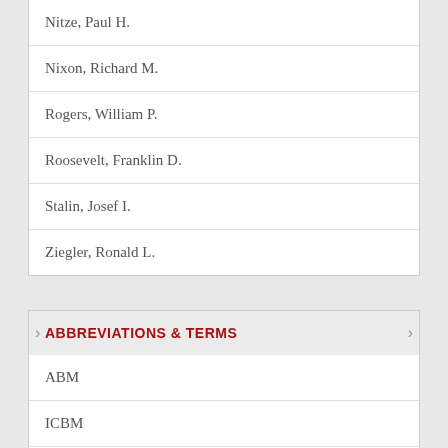| Nitze, Paul H. |
| Nixon, Richard M. |
| Rogers, William P. |
| Roosevelt, Franklin D. |
| Stalin, Josef I. |
| Ziegler, Ronald L. |
ABBREVIATIONS & TERMS
| ABM |
| ICBM |
| K |